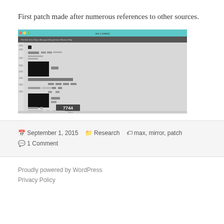First patch made after numerous references to other sources.
[Figure (screenshot): Screenshot of a software application (likely Max/MSP or similar) showing a patch editor with black boxes, UI elements, and the number 7744 displayed prominently in a dark box.]
September 1, 2015   Research   max, mirror, patch   1 Comment
Proudly powered by WordPress
Privacy Policy